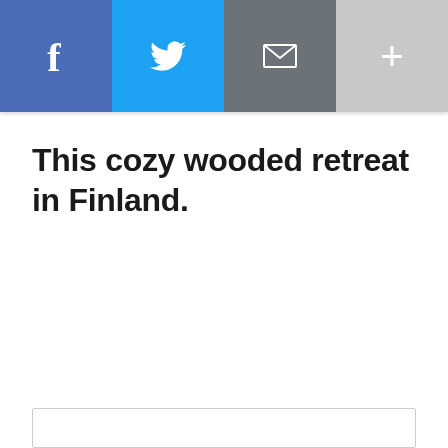[Figure (infographic): Social sharing bar with four buttons: Facebook (blue), Twitter (cyan), Email (gray), More/Plus (light gray)]
This cozy wooded retreat in Finland.